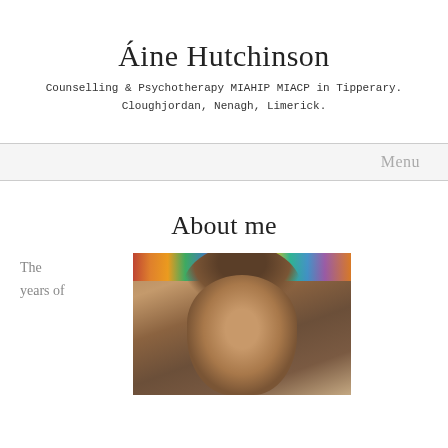Áine Hutchinson
Counselling & Psychotherapy MIAHIP MIACP in Tipperary. Cloughjordan, Nenagh, Limerick.
Menu
About me
The years of
[Figure (photo): Portrait photo of a woman with brown hair in front of a bookshelf with colorful books]